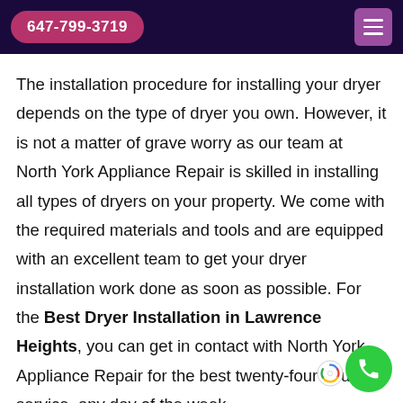647-799-3719
The installation procedure for installing your dryer depends on the type of dryer you own. However, it is not a matter of grave worry as our team at North York Appliance Repair is skilled in installing all types of dryers on your property. We come with the required materials and tools and are equipped with an excellent team to get your dryer installation work done as soon as possible. For the Best Dryer Installation in Lawrence Heights, you can get in contact with North York Appliance Repair for the best twenty-four hours service, any day of the week.